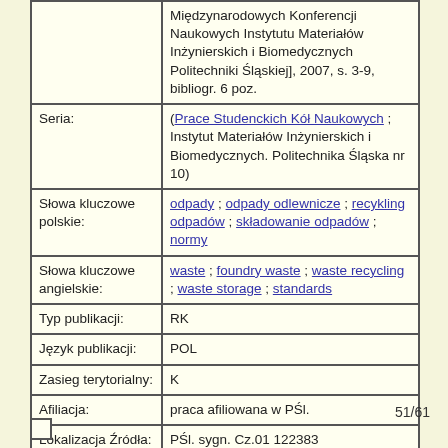| Field | Value |
| --- | --- |
|  | Międzynarodowych Konferencji Naukowych Instytutu Materiałów Inżynierskich i Biomedycznych Politechniki Śląskiej], 2007, s. 3-9, bibliogr. 6 poz. |
| Seria: | (Prace Studenckich Kół Naukowych ; Instytut Materiałów Inżynierskich i Biomedycznych. Politechnika Śląska nr 10) |
| Słowa kluczowe polskie: | odpady ; odpady odlewnicze ; recykling odpadów ; składowanie odpadów ; normy |
| Słowa kluczowe angielskie: | waste ; foundry waste ; waste recycling ; waste storage ; standards |
| Typ publikacji: | RK |
| Język publikacji: | POL |
| Zasieg terytorialny: | K |
| Afiliacja: | praca afiliowana w PŚl. |
| Lokalizacja Źródła: | PŚl. sygn. Cz.01 122383 |
51/61